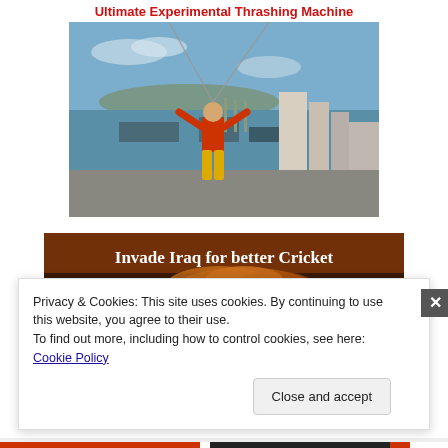Ultimate Experimental Thrashing Machine
[Figure (photo): Person in orange jacket and yellow pants doing a zip-line or similar adventure activity on top of a tall building/tower with a city skyline and harbor visible below]
[Figure (photo): Dark brown/orange image with text 'Invade Iraq for better Cricket' and an explosion cloud visible]
Privacy & Cookies: This site uses cookies. By continuing to use this website, you agree to their use.
To find out more, including how to control cookies, see here: Cookie Policy
Close and accept